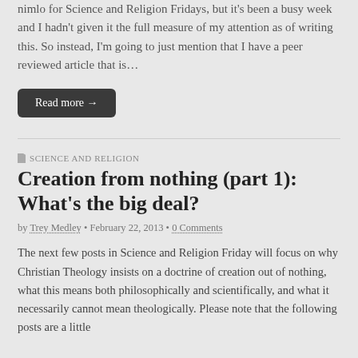nimlo for Science and Religion Fridays, but it's been a busy week and I hadn't given it the full measure of my attention as of writing this. So instead, I'm going to just mention that I have a peer reviewed article that is…
Read more →
SCIENCE AND RELIGION
Creation from nothing (part 1): What's the big deal?
by Trey Medley • February 22, 2013 • 0 Comments
The next few posts in Science and Religion Friday will focus on why Christian Theology insists on a doctrine of creation out of nothing, what this means both philosophically and scientifically, and what it necessarily cannot mean theologically. Please note that the following posts are a little